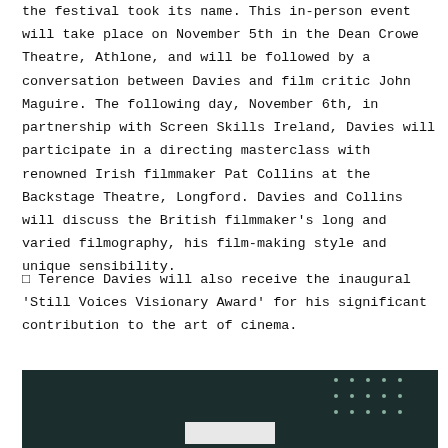screening of his 1988 masterpiece Distant Voices Still Lives, after which the festival took its name. This in-person event will take place on November 5th in the Dean Crowe Theatre, Athlone, and will be followed by a conversation between Davies and film critic John Maguire. The following day, November 6th, in partnership with Screen Skills Ireland, Davies will participate in a directing masterclass with renowned Irish filmmaker Pat Collins at the Backstage Theatre, Longford. Davies and Collins will discuss the British filmmaker's long and varied filmography, his film-making style and unique sensibility.
◻ Terence Davies will also receive the inaugural 'Still Voices Visionary Award' for his significant contribution to the art of cinema.
[Figure (other): Dark teal/navy footer bar with a grid of small dots on the right side and a light grey rectangle centered at the bottom]